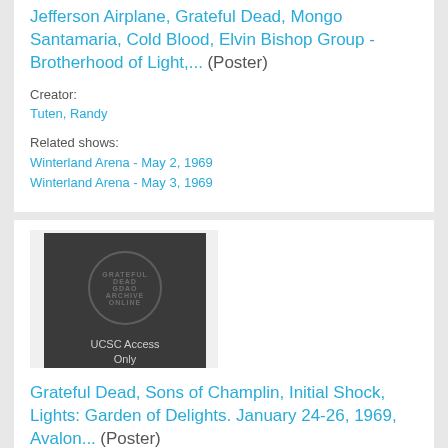Jefferson Airplane, Grateful Dead, Mongo Santamaria, Cold Blood, Elvin Bishop Group - Brotherhood of Light,... (Poster)
Creator:
Tuten, Randy
Related shows:
Winterland Arena - May 2, 1969
Winterland Arena - May 3, 1969
[Figure (photo): Thumbnail image with UCSC Access Only watermark overlay on dark background]
Grateful Dead, Sons of Champlin, Initial Shock, Lights: Garden of Delights. January 24-26, 1969, Avalon... (Poster)
Creator:
Griffin, Rick